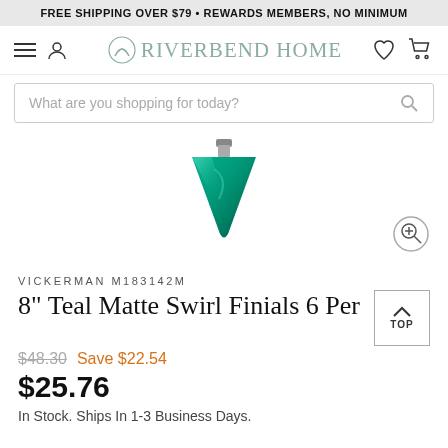FREE SHIPPING OVER $79 • REWARDS MEMBERS, NO MINIMUM
[Figure (logo): Riverbend Home logo with navigation icons (hamburger menu, user icon, heart, cart)]
[Figure (screenshot): Search bar with placeholder text 'What are you shopping for today?' and search icon]
[Figure (photo): Teal matte swirl finial ornament shaped like an inverted teardrop/triangle, teal/green color, with a zoom button in the lower right]
VICKERMAN M183142M
8" Teal Matte Swirl Finials 6 Per B
$48.30  Save $22.54
$25.76
In Stock. Ships In 1-3 Business Days.